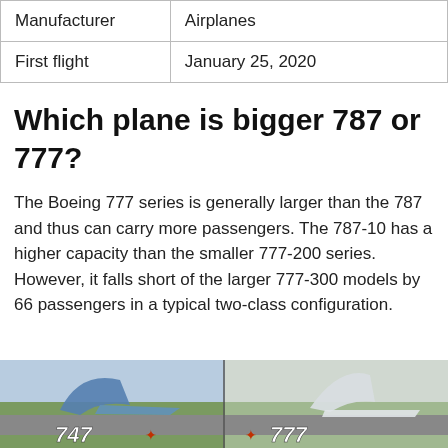| Manufacturer | Airplanes |
| First flight | January 25, 2020 |
Which plane is bigger 787 or 777?
The Boeing 777 series is generally larger than the 787 and thus can carry more passengers. The 787-10 has a higher capacity than the smaller 777-200 series. However, it falls short of the larger 777-300 models by 66 passengers in a typical two-class configuration.
[Figure (photo): Side-by-side photograph of airplane tails labeled 747 and 777 on a runway with green scenery in background]